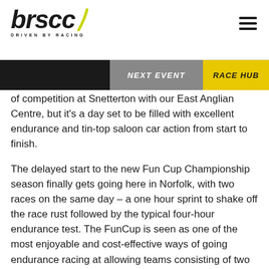BRSCC — DRIVEN BY RACING
of competition at Snetterton with our East Anglian Centre, but it's a day set to be filled with excellent endurance and tin-top saloon car action from start to finish.
The delayed start to the new Fun Cup Championship season finally gets going here in Norfolk, with two races on the same day – a one hour sprint to shake off the race rust followed by the typical four-hour endurance test. The FunCup is seen as one of the most enjoyable and cost-effective ways of going endurance racing at allowing teams consisting of two to six drivers battling it out on track in races that typically see drivers racing flat out from start to finish. All teams run the same silhouette body shape over a